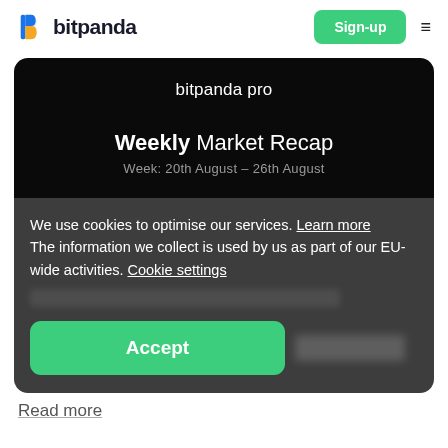[Figure (logo): Bitpanda logo: stylized 'B' icon in blue/yellow and the text 'bitpanda' in dark bold font]
Sign-up
bitpanda pro
Weekly Market Recap
Week: 20th August – 26th August
We use cookies to optimise our services. Learn more The information we collect is used by us as part of our EU-wide activities. Cookie settings
Accept
Read more